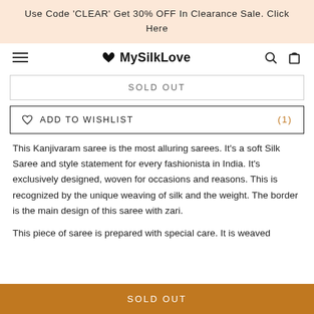Use Code 'CLEAR' Get 30% OFF In Clearance Sale. Click Here
MySilkLove
SOLD OUT
♡ ADD TO WISHLIST (1)
This Kanjivaram saree is the most alluring sarees. It's a soft Silk Saree and style statement for every fashionista in India. It's exclusively designed, woven for occasions and reasons. This is recognized by the unique weaving of silk and the weight. The border is the main design of this saree with zari.
This piece of saree is prepared with special care. It is weaved
SOLD OUT